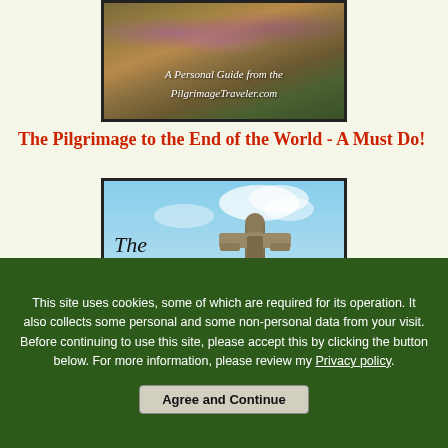[Figure (photo): A hillside covered with heather and dry grass, with text overlay reading 'A Personal Guide from the PilgrimageTraveler.com' in white italic script]
The Pilgrimage to the End of the World - A Must Do!
[Figure (photo): A stone crucifix cross against a blue sky with hills in the background, with italic text overlay reading 'The Camino Finisterre']
This site uses cookies, some of which are required for its operation. It also collects some personal and some non-personal data from your visit. Before continuing to use this site, please accept this by clicking the button below. For more information, please review my Privacy policy.
Agree and Continue